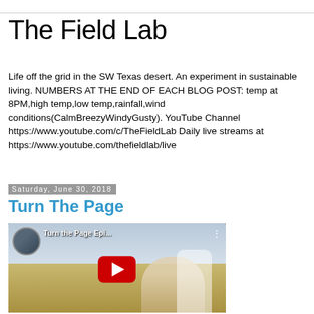The Field Lab
Life off the grid in the SW Texas desert. An experiment in sustainable living. NUMBERS AT THE END OF EACH BLOG POST: temp at 8PM,high temp,low temp,rainfall,wind conditions(CalmBreezyWindyGusty). YouTube Channel https://www.youtube.com/c/TheFieldLab Daily live streams at https://www.youtube.com/thefieldlab/live
Saturday, June 30, 2018
Turn The Page
[Figure (screenshot): YouTube video embed showing 'Turn the Page Epi...' with a thumbnail of a man with a light-colored animal (possibly a cow or goat) in a desert setting. A YouTube play button overlay is visible in the center, and a circular avatar is in the top-left corner.]